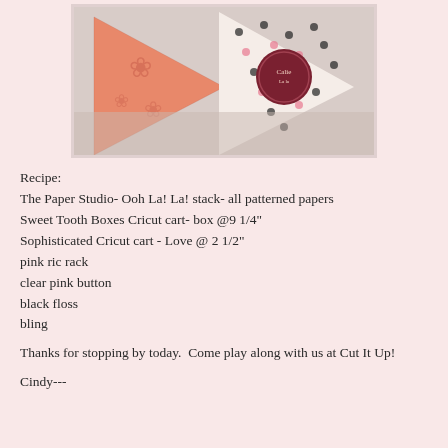[Figure (photo): A photo of decorative paper craft sweet tooth / cone-shaped boxes made with patterned papers in pink floral and black polka dot patterns, with a dark red circular label/embellishment on a white/grey background.]
Recipe:
The Paper Studio- Ooh La! La! stack- all patterned papers
Sweet Tooth Boxes Cricut cart- box @9 1/4"
Sophisticated Cricut cart - Love @ 2 1/2"
pink ric rack
clear pink button
black floss
bling
Thanks for stopping by today.  Come play along with us at Cut It Up!
Cindy---